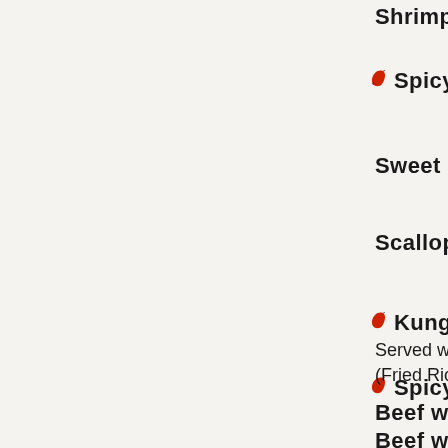Shrimp with
🌶 Spicy Szech
Sweet & Sou
Scallops wit
🌶 Kung Pao Sc
🌶 Spicy Szech
🌶 Scallops in
Served with (Fried Rice
Beef with Br
Beef with G